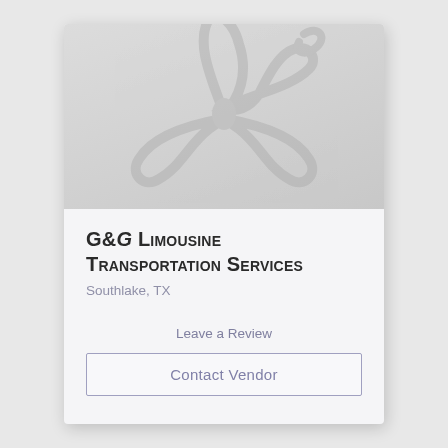[Figure (illustration): Decorative flower/floral watermark graphic in light gray on a gray gradient background]
G&G Limousine Transportation Services
Southlake, TX
Leave a Review
Contact Vendor